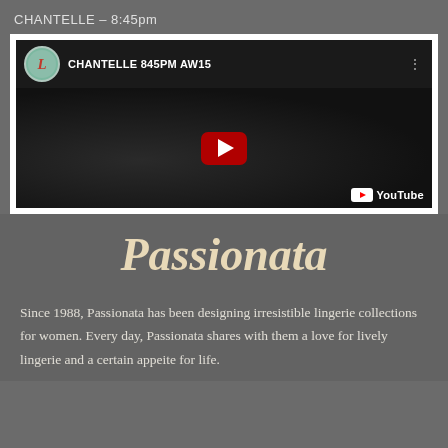CHANTELLE – 8:45pm
[Figure (screenshot): YouTube video thumbnail showing 'CHANTELLE 845PM AW15' with a dark video preview, YouTube play button overlay, Lingerie channel avatar, and YouTube logo watermark]
Passionata
Since 1988, Passionata has been designing irresistible lingerie collections for women. Every day, Passionata shares with them a love for lively lingerie and a certain appeite for life.